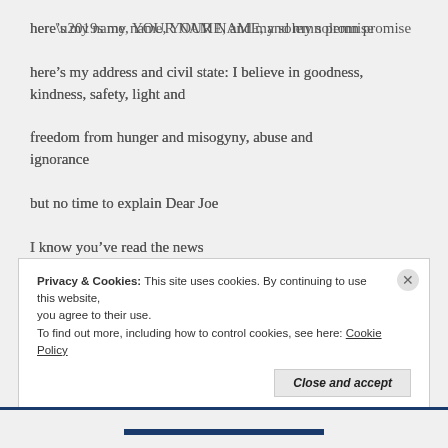here’s my name, YOUR NAME, and my solemn promise
here’s my address and civil state: I believe in goodness, kindness, safety, light and
freedom from hunger and misogyny, abuse and ignorance
but no time to explain Dear Joe
I know you’ve read the news
Privacy & Cookies: This site uses cookies. By continuing to use this website, you agree to their use.
To find out more, including how to control cookies, see here: Cookie Policy
Close and accept